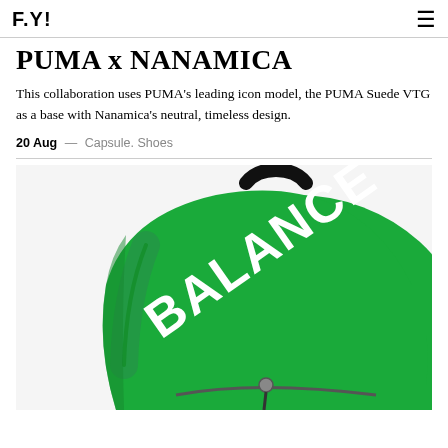F.Y!
PUMA x NANAMICA
This collaboration uses PUMA's leading icon model, the PUMA Suede VTG as a base with Nanamica's neutral, timeless design.
20 Aug — Capsule. Shoes
[Figure (photo): Green backpack with white BALANCE text and black handle/zipper details]